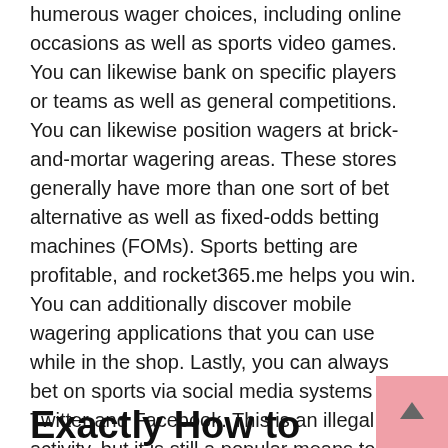humerous wager choices, including online occasions as well as sports video games. You can likewise bank on specific players or teams as well as general competitions. You can likewise position wagers at brick-and-mortar wagering areas. These stores generally have more than one sort of bet alternative as well as fixed-odds betting machines (FOMs). Sports betting are profitable, and rocket365.me helps you win. You can additionally discover mobile wagering applications that you can use while in the shop. Lastly, you can always bet on sports via social media systems like Twitter and Facebook. This is an illegal activity, but it is still a popular means to bet in sports.
Exactly How to